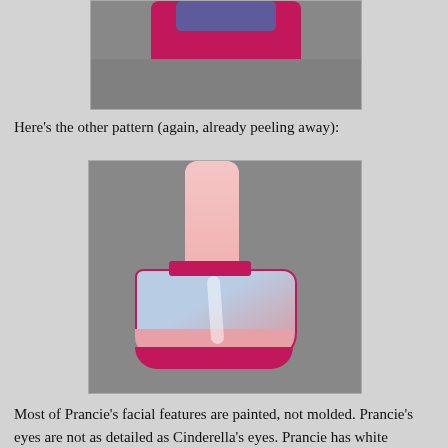[Figure (photo): Close-up photo of a pink/magenta doll shoe on a gray background, partially visible at top of page]
Here's the other pattern (again, already peeling away):
[Figure (photo): Close-up photo of a doll's foot/leg wearing a decorative shoe with blue/gray patterned upper, pink floral scalloped trim at the bottom, magenta sole and ankle strap, on a gray background]
Most of Prancie's facial features are painted, not molded.  Prancie's eyes are not as detailed as Cinderella's eyes.  Prancie has white